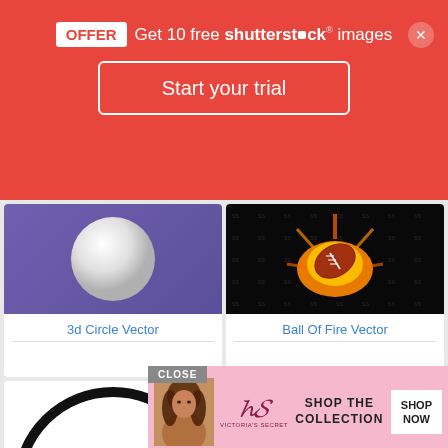[Figure (screenshot): Red Shutterstock promotional banner with OFFER badge, 'Get 10 free shutterstock images' text, close button, and 'Start your trial' button]
[Figure (illustration): White 3D sphere on purple/blue gradient background]
3d Circle Vector
[Figure (illustration): American football on fire against dark/black background with watermark pattern]
Ball Of Fire Vector
[Figure (illustration): Partial black circular arc shape on white background, bottom left card]
[Figure (illustration): Partial black circular arc shape on white background, bottom right card]
[Figure (advertisement): Victoria's Secret advertisement overlay: pink background, model photo, SHOP THE COLLECTION text, SHOP NOW button, CLOSE button]